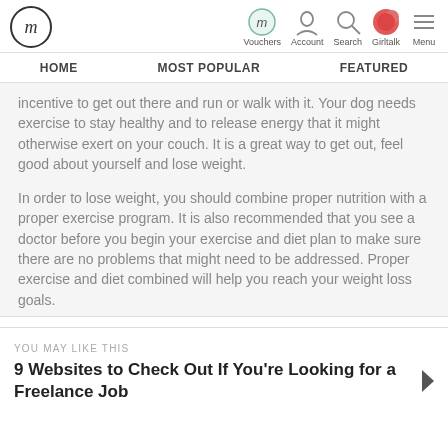fm | Vouchers | Account | Search | Girltalk | Menu
HOME | MOST POPULAR | FEATURED
incentive to get out there and run or walk with it. Your dog needs exercise to stay healthy and to release energy that it might otherwise exert on your couch. It is a great way to get out, feel good about yourself and lose weight.
In order to lose weight, you should combine proper nutrition with a proper exercise program. It is also recommended that you see a doctor before you begin your exercise and diet plan to make sure there are no problems that might need to be addressed. Proper exercise and diet combined will help you reach your weight loss goals.
YOU MAY LIKE THIS
9 Websites to Check Out If You're Looking for a Freelance Job